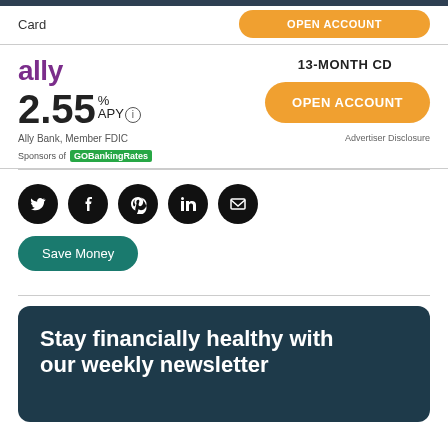Card
OPEN ACCOUNT
[Figure (logo): Ally bank logo in purple text]
13-MONTH CD
2.55% APY
Ally Bank, Member FDIC
OPEN ACCOUNT
Sponsors of GoBankingRates
Advertiser Disclosure
[Figure (illustration): Social media share icons: Twitter, Facebook, Pinterest, LinkedIn, Email]
Save Money
Stay financially healthy with our weekly newsletter